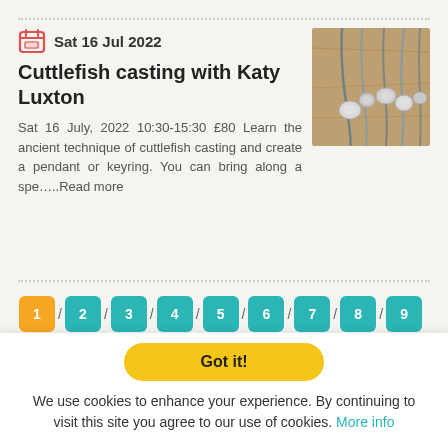Sat 16 Jul 2022
Cuttlefish casting with Katy Luxton
Sat 16 July, 2022 10:30-15:30 £80 Learn the ancient technique of cuttlefish casting and create a pendant or keyring. You can bring along a spe…..Read more
[Figure (photo): Photo of silver cuttlefish cast pendants/keyrings on cords against a wooden background]
1 / 2 / 3 / 4 / 5 / 6 / 7 / 8 / 9 / ... / 12 / ... / 42 / ... / 92 / ... / 142 / ... /
Got it!
We use cookies to enhance your experience. By continuing to visit this site you agree to our use of cookies. More info